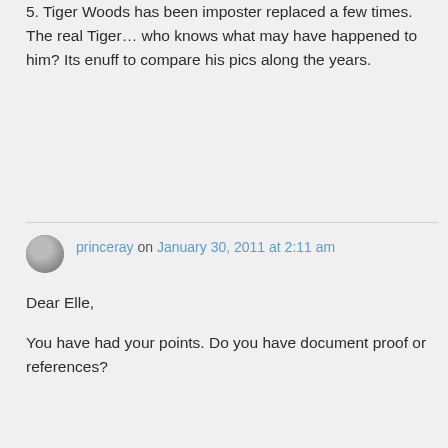5. Tiger Woods has been imposter replaced a few times. The real Tiger… who knows what may have happened to him? Its enuff to compare his pics along the years.
princeray on January 30, 2011 at 2:11 am
Dear Elle,
You have had your points. Do you have document proof or references?